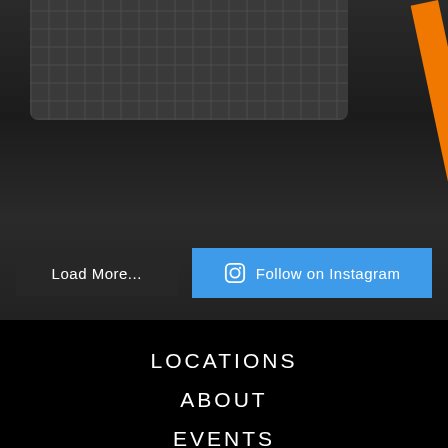[Figure (photo): Close-up photo of a dark car front grille/bumper on asphalt road with an orange diagonal stripe on the right side]
Load More...
Follow on Instagram
LOCATIONS
ABOUT
EVENTS
BLOG
SPECIALS
CAREERS
SCHEDULE